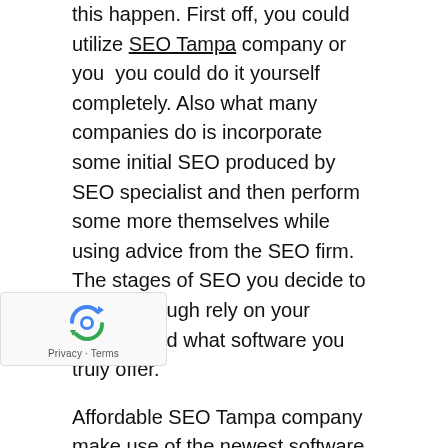this happen. First off, you could utilize SEO Tampa company or you  you could do it yourself completely. Also what many companies do is incorporate some initial SEO produced by SEO specialist and then perform some more themselves while using advice from the SEO firm.  The stages of SEO you decide to pursue though rely on your abilities and what software you truly offer.
Affordable SEO Tampa company make use of the newest software to be sure the job they carry out is going to be as effective as possible and also to predict the top methods for getting traffic, or the most relevant people to your website. Initially you should choose keywords, there are some businesses who specialize in just keyword research though and you may have this done as needed. You may buy software though or depend on an easy tool like one Google themselves provide to let you predict how effective a keyword will probably be. As well you or people within your business would be the best to decide
[Figure (other): reCAPTCHA widget overlay in the lower-left corner showing the reCAPTCHA logo (circular arrows icon) and 'Privacy - Terms' text]